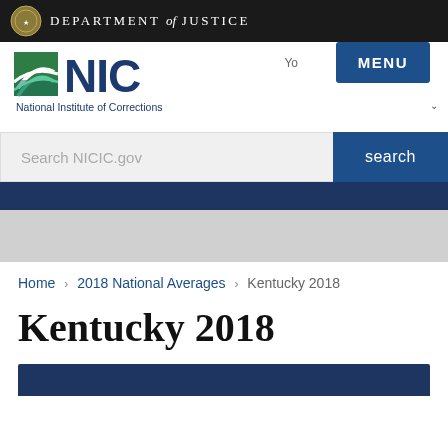DEPARTMENT of JUSTICE
[Figure (logo): NIC - National Institute of Corrections logo with green and teal square graphic and bold dark blue NIC text]
Search NICIC.gov
search
MENU
Home › 2018 National Averages › Kentucky 2018
Kentucky 2018